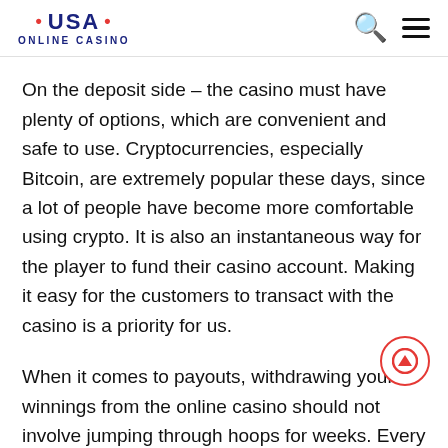• USA • ONLINE CASINO
On the deposit side – the casino must have plenty of options, which are convenient and safe to use. Cryptocurrencies, especially Bitcoin, are extremely popular these days, since a lot of people have become more comfortable using crypto. It is also an instantaneous way for the player to fund their casino account. Making it easy for the customers to transact with the casino is a priority for us.
When it comes to payouts, withdrawing your winnings from the online casino should not involve jumping through hoops for weeks. Every ill-reputed casino will do this in hopes that the player will play and lose the money, while they are waiting for the cashout. A good casino should be accommodating to its customers – fair is fair, and it should